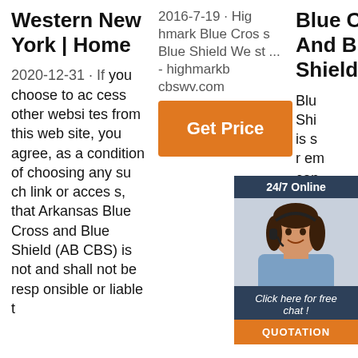Western New York | Home
2020-12-31 · If you choose to access other websites from this website, you agree, as a condition of choosing any such link or access, that Arkansas Blue Cross and Blue Shield (AB CBS) is not and shall not be responsible or liable t
2016-7-19 · Highmark Blue Cross Blue Shield We st ... - highmarkbcbswv.com
Get Price
Blue Cross And Blue Shield
Blue Cross Blue Shield is s r em can gh o ring and mber one priority is the health and safety of our employees and job candidates. We
[Figure (photo): Customer service representative woman with headset smiling, overlaid with a chat widget showing '24/7 Online', 'Click here for free chat!', and 'QUOTATION' button]